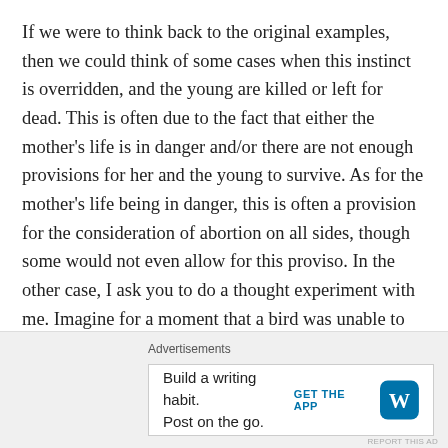If we were to think back to the original examples, then we could think of some cases when this instinct is overridden, and the young are killed or left for dead. This is often due to the fact that either the mother's life is in danger and/or there are not enough provisions for her and the young to survive. As for the mother's life being in danger, this is often a provision for the consideration of abortion on all sides, though some would not even allow for this proviso. In the other case, I ask you to do a thought experiment with me. Imagine for a moment that a bird was unable to feed her young, so she left them to fend for themselves. Now if a bird should come along and take care of the birds that were left behind, do you imagine that the first bird
Advertisements
Build a writing habit. Post on the go.
GET THE APP